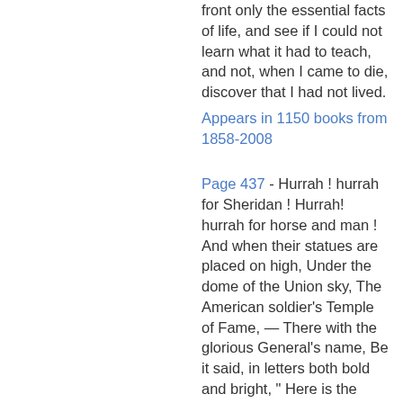front only the essential facts of life, and see if I could not learn what it had to teach, and not, when I came to die, discover that I had not lived.
Appears in 1150 books from 1858-2008
Page 437 - Hurrah ! hurrah for Sheridan ! Hurrah! hurrah for horse and man ! And when their statues are placed on high, Under the dome of the Union sky, The American soldier's Temple of Fame, — There with the glorious General's name, Be it said, in letters both bold and bright, " Here is the